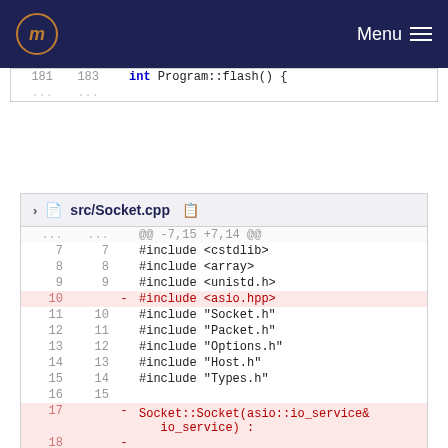Menu
[Figure (screenshot): Code diff showing partial view of Program::flash() function at lines 181/183]
src/Socket.cpp
| old | new | op | code |
| --- | --- | --- | --- |
| ... | ... |  | @@ -7,15 +7,14 @@ |
| 7 | 7 |  | #include <cstdlib> |
| 8 | 8 |  | #include <array> |
| 9 | 9 |  | #include <unistd.h> |
| 10 |  | - | #include <asio.hpp> |
| 11 | 10 |  | #include "Socket.h" |
| 12 | 11 |  | #include "Packet.h" |
| 13 | 12 |  | #include "Options.h" |
| 14 | 13 |  | #include "Host.h" |
| 15 | 14 |  | #include "Types.h" |
| 16 | 15 |  |  |
| 17 |  | - | Socket::Socket(asio::io_service& io_service) : |
| 18 |  | - |  |
|  |  |  | send_socket_(io_service), |